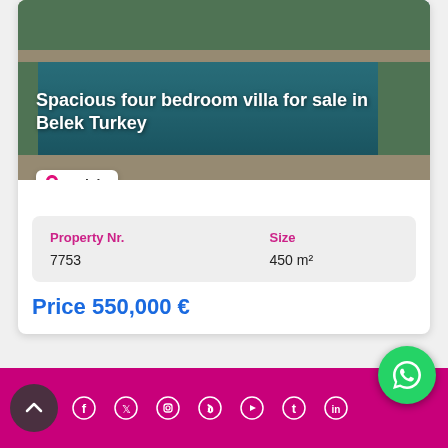[Figure (photo): Swimming pool area of a villa in Belek Turkey, viewed from above with water, stone paving, and greenery]
Spacious four bedroom villa for sale in Belek Turkey
Belek
| Property Nr. | Size |
| --- | --- |
| 7753 | 450 m² |
Price 550,000 €
READ MORE
Social media icons: Facebook, Twitter, Instagram, Pinterest, YouTube, Tumblr, LinkedIn